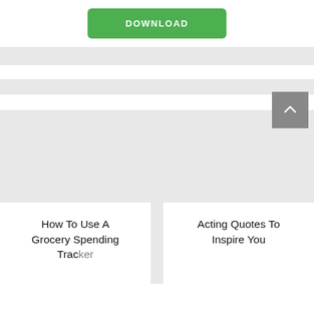[Figure (other): Green DOWNLOAD button centered at top of page]
[Figure (other): Gray back-to-top arrow button in upper right]
How To Use A Grocery Spending Tracker
Acting Quotes To Inspire You